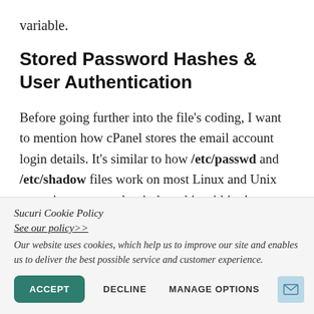variable.
Stored Password Hashes & User Authentication
Before going further into the file's coding, I want to mention how cPanel stores the email account login details. It's similar to how /etc/passwd and /etc/shadow files work on most Linux and Unix operating systems, but it does this within the
Sucuri Cookie Policy
See our policy>>
Our website uses cookies, which help us to improve our site and enables us to deliver the best possible service and customer experience.
ACCEPT   DECLINE   MANAGE OPTIONS